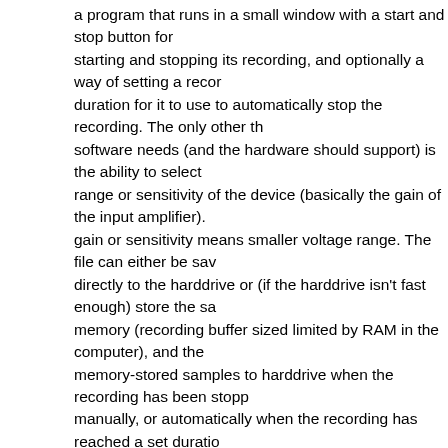a program that runs in a small window with a start and stop button for starting and stopping its recording, and optionally a way of setting a recording duration for it to use to automatically stop the recording. The only other thing software needs (and the hardware should support) is the ability to select the range or sensitivity of the device (basically the gain of the input amplifier). Higher gain or sensitivity means smaller voltage range. The file can either be saved directly to the harddrive or (if the harddrive isn't fast enough) store the sample memory (recording buffer sized limited by RAM in the computer), and then write memory-stored samples to harddrive when the recording has been stopped (either manually, or automatically when the recording has reached a set duration or the memory buffer is full). As it doesn't require triggering, or comparing 2 signals in realtime, it doesn't need more than one channel, so a digitizer can be built on one channel, a voltage amplifier, an ADC, and a USB interface. The idea is to record a signal from some source (a photodiode, a serial port, an analog video signal, ...) for later analysis. Very simple concept for hardware, and software, though no company has made one yet. The best I've seen are your multi-channel scopes, but they put too much effort into being a scope (things like triggering and multiple connections, having either a high sample rate or a high bitdepth but not both simultaneously), and thus lack some of the features a digitizer would have (like being simple hardware/software, and simultaneous high samplerate and high bitdepth digitization of a single channel). Also while a soundcard typically makes full use of the bandwidth of the soundcard (you have 24kHz bandwidth for a 48kHz soundcard), most oscilloscopes don't (your scopes allow something like 8MHz bandwidth for a 200MSPS scope, and not the full 100MHz bandwidth that is actually possible). A digitizer however, would (like a soundcard) allow the full bandwidth of the hardware to be used. There are a few ideas that have been